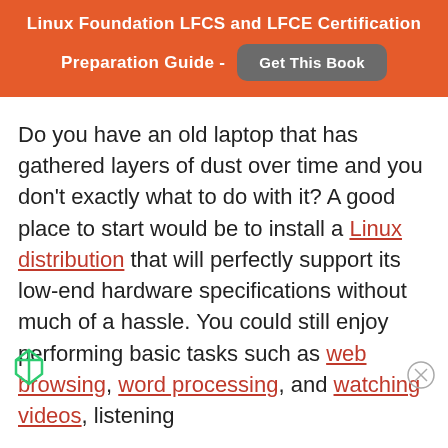Linux Foundation LFCS and LFCE Certification Preparation Guide - Get This Book
Do you have an old laptop that has gathered layers of dust over time and you don't exactly what to do with it? A good place to start would be to install a Linux distribution that will perfectly support its low-end hardware specifications without much of a hassle. You could still enjoy performing basic tasks such as web browsing, word processing, and watching videos, listening